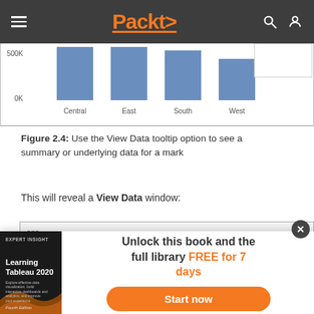Packt>
[Figure (bar-chart): Sales by Region]
Figure 2.4: Use the View Data tooltip option to see a summary or underlying data for a mark
This will reveal a View Data window:
[Figure (screenshot): View Data: Tableau Paradigm window title bar]
[Figure (infographic): Promotional overlay: Unlock this book and the full library FREE for 7 days. Book cover: Learning Tableau 2020, Fourth Edition. Start now button.]